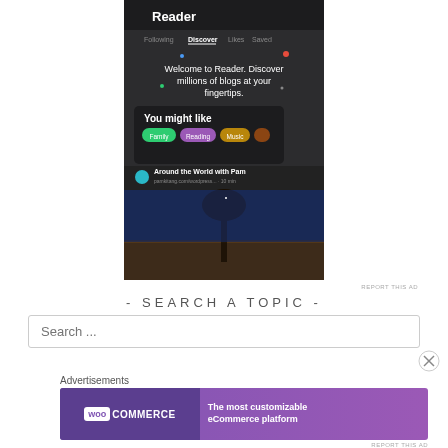[Figure (screenshot): WordPress Reader app screenshot showing 'Reader' screen with Discover tab selected, 'Welcome to Reader. Discover millions of blogs at your fingertips.' message, 'You might like' section with Family, Reading, Music category pills, and 'Around the World with Pam' blog post with a lone tree sunset photo]
REPORT THIS AD
- SEARCH A TOPIC -
Search ...
Advertisements
[Figure (screenshot): WooCommerce advertisement banner: 'The most customizable eCommerce platform']
REPORT THIS AD